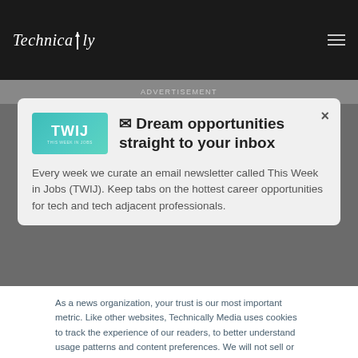Technically
ADVERTISEMENT
[Figure (logo): TWIJ newsletter badge with teal gradient background]
✉ Dream opportunities straight to your inbox
Every week we curate an email newsletter called This Week in Jobs (TWIJ). Keep tabs on the hottest career opportunities for tech and tech adjacent professionals.
As a news organization, your trust is our most important metric. Like other websites, Technically Media uses cookies to track the experience of our readers, to better understand usage patterns and content preferences. We will not sell or rent your personal information to third parties. For more information or to contact us, read our entire Ethics & Privacy Policy.
Close